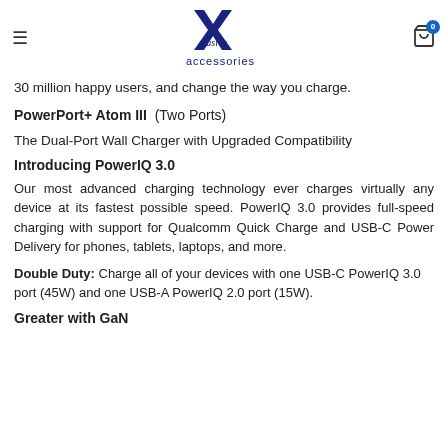Xclusive accessories
30 million happy users, and change the way you charge.
PowerPort+ Atom III  (Two Ports)
The Dual-Port Wall Charger with Upgraded Compatibility
Introducing PowerIQ 3.0
Our most advanced charging technology ever charges virtually any device at its fastest possible speed. PowerIQ 3.0 provides full-speed charging with support for Qualcomm Quick Charge and USB-C Power Delivery for phones, tablets, laptops, and more.
Double Duty: Charge all of your devices with one USB-C PowerIQ 3.0 port (45W) and one USB-A PowerIQ 2.0 port (15W).
Greater with GaN